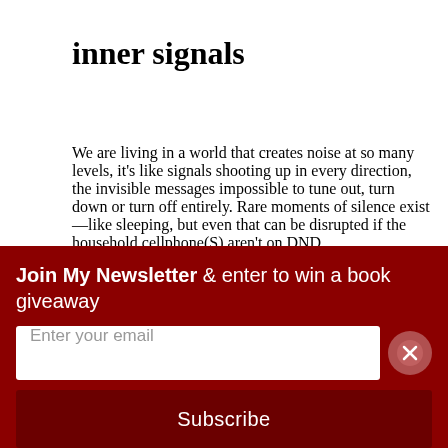inner signals
We are living in a world that creates noise at so many levels, it's like signals shooting up in every direction, the invisible messages impossible to tune out, turn down or turn off entirely. Rare moments of silence exist—like sleeping, but even that can be disrupted if the household cellphone(S) aren't on DND.
How then do we focus, be optimistic and serve to enlighten and help others when noise levels only seem to be increasing? For some, part of the solution rests in time management. Having kids certainly propelled me to optimize every twenty-minute block I had, combining
Join My Newsletter & enter to win a book giveaway
Enter your email
Subscribe